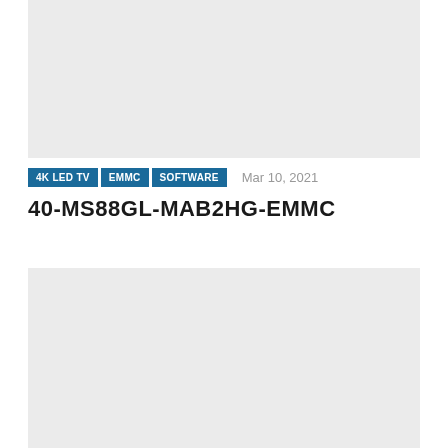[Figure (other): Gray placeholder image block at top of page]
4K LED TV  EMMC  SOFTWARE  Mar 10, 2021
40-MS88GL-MAB2HG-EMMC
[Figure (other): Gray placeholder image block at bottom of page]